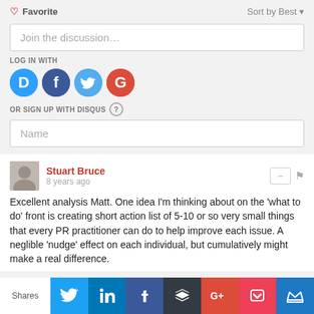♡ Favorite
Sort by Best ▾
Join the discussion…
LOG IN WITH
[Figure (screenshot): Social login icons: Disqus (D), Facebook (f), Twitter bird, Google (G)]
OR SIGN UP WITH DISQUS ?
Name
Stuart Bruce
8 years ago
Excellent analysis Matt. One idea I'm thinking about on the 'what to do' front is creating short action list of 5-10 or so very small things that every PR practitioner can do to help improve each issue. A neglible 'nudge' effect on each individual, but cumulatively might make a real difference.
[Figure (screenshot): Social share bar with Twitter, LinkedIn, Facebook, Buffer, G+, Pocket, Crown icons. Label: Shares]